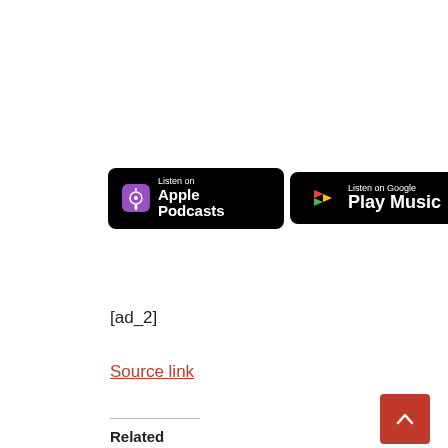[Figure (logo): Listen on Apple Podcasts badge and Listen on Google Play Music badge side by side]
[ad_2]
Source link
Related
The Newest Scream Was Stuffed With Twists and Turns, So Let's Break Down That Ending
January 16, 2022
In "ENTERTAINMENT"
Relive Jason Momoa's Shut Bond With Lenny Kravitz By means of the Years
January 15, 2022
In "ENTERTAINMENT"